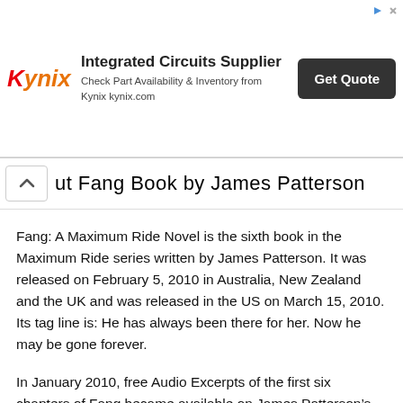[Figure (other): Kynix advertisement banner: logo, 'Integrated Circuits Supplier', 'Check Part Availability & Inventory from Kynix kynix.com', and a 'Get Quote' button.]
ut Fang Book by James Patterson
Fang: A Maximum Ride Novel is the sixth book in the Maximum Ride series written by James Patterson. It was released on February 5, 2010 in Australia, New Zealand and the UK and was released in the US on March 15, 2010. Its tag line is: He has always been there for her. Now he may be gone forever.
In January 2010, free Audio Excerpts of the first six chapters of Fang became available on James Patterson’s official website.